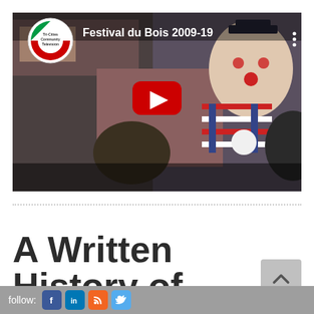[Figure (screenshot): YouTube video thumbnail showing a clown in a red-and-white striped shirt and blue overalls doing a trick for children. The video title reads 'Festival du Bois 2009-19' with the Tri-Cities Community Television logo in the top-left corner. A red YouTube play button is centered on the image.]
A Written History of
follow: [Facebook] [LinkedIn] [RSS] [Twitter]